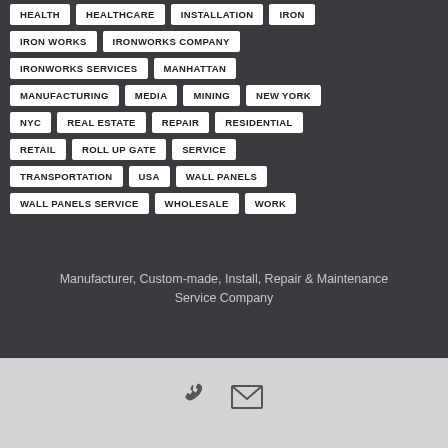HEALTH
HEALTHCARE
INSTALLATION
IRON
IRON WORKS
IRONWORKS COMPANY
IRONWORKS SERVICES
MANHATTAN
MANUFACTURING
MEDIA
MINING
NEW YORK
NYC
REAL ESTATE
REPAIR
RESIDENTIAL
RETAIL
ROLL UP GATE
SERVICE
TRANSPORTATION
USA
WALL PANELS
WALL PANELS SERVICE
WHOLESALE
WORK
Manufacturer, Custom-made, Install, Repair & Maintenance Service Company
[Figure (infographic): Phone and email icons at the bottom footer]